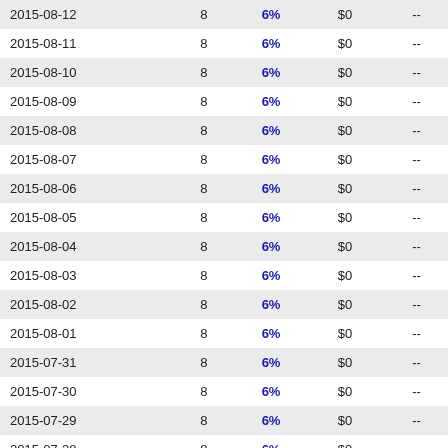| 2015-08-12 | 8 | 6% | $0 | -- |
| 2015-08-11 | 8 | 6% | $0 | -- |
| 2015-08-10 | 8 | 6% | $0 | -- |
| 2015-08-09 | 8 | 6% | $0 | -- |
| 2015-08-08 | 8 | 6% | $0 | -- |
| 2015-08-07 | 8 | 6% | $0 | -- |
| 2015-08-06 | 8 | 6% | $0 | -- |
| 2015-08-05 | 8 | 6% | $0 | -- |
| 2015-08-04 | 8 | 6% | $0 | -- |
| 2015-08-03 | 8 | 6% | $0 | -- |
| 2015-08-02 | 8 | 6% | $0 | -- |
| 2015-08-01 | 8 | 6% | $0 | -- |
| 2015-07-31 | 8 | 6% | $0 | -- |
| 2015-07-30 | 8 | 6% | $0 | -- |
| 2015-07-29 | 8 | 6% | $0 | -- |
| 2015-07-28 | 8 | 6% | $0 | -- |